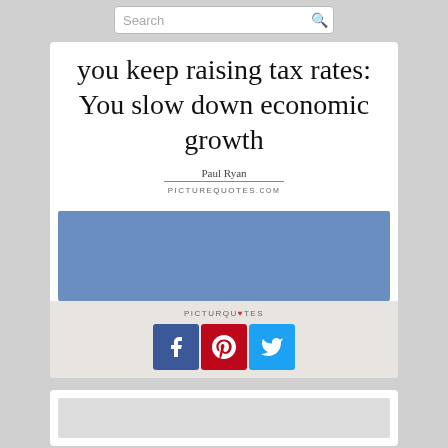Search
you keep raising tax rates: You slow down economic growth
Paul Ryan
PICTUREQUOTES.com
[Figure (other): Blue/grey advertisement placeholder block]
PICTUREQUOTES
[Figure (infographic): Social sharing buttons: Facebook (blue), Pinterest (red), Twitter (light blue)]
[Figure (other): Partial second content card at bottom of page]